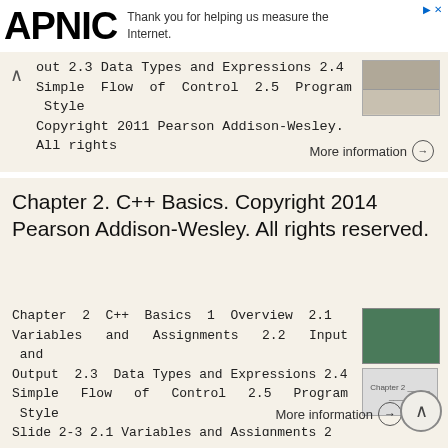[Figure (logo): APNIC logo in bold black text]
Thank you for helping us measure the Internet.
out 2.3 Data Types and Expressions 2.4 Simple Flow of Control 2.5 Program Style Copyright 2011 Pearson Addison-Wesley. All rights
More information →
Chapter 2. C++ Basics. Copyright 2014 Pearson Addison-Wesley. All rights reserved.
Chapter 2 C++ Basics 1 Overview 2.1 Variables and Assignments 2.2 Input and Output 2.3 Data Types and Expressions 2.4 Simple Flow of Control 2.5 Program Style Slide 2-3 2.1 Variables and Assignments 2
More information →